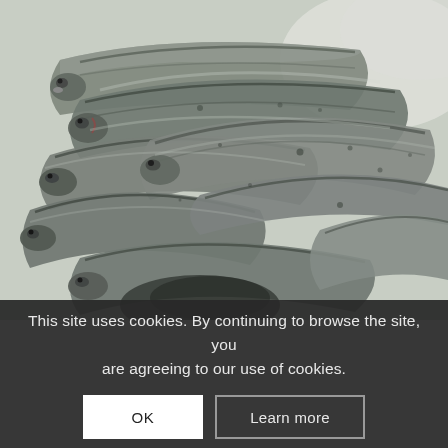[Figure (photo): A close-up photograph of multiple fresh fish (sardines or similar small fish) piled together, showing their silvery scales, dark dorsal stripes, and heads. The fish are arranged diagonally across the frame against a light background.]
This site uses cookies. By continuing to browse the site, you are agreeing to our use of cookies.
OK
Learn more